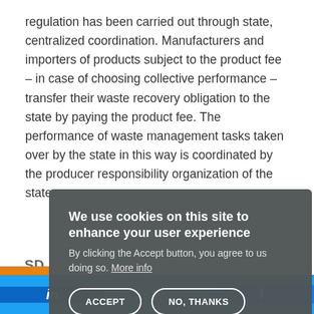regulation has been carried out through state, centralized coordination. Manufacturers and importers of products subject to the product fee – in case of choosing collective performance – transfer their waste recovery obligation to the state by paying the product fee. The performance of waste management tasks taken over by the state in this way is coordinated by the producer responsibility organization of the state.
[Figure (screenshot): Cookie consent overlay with title 'We use cookies on this site to enhance your user experience', body text, More info link, and ACCEPT / NO, THANKS buttons. Behind overlay: partial SDG content and SDG badge with number 12. Bottom social sharing bar with LinkedIn, Twitter, Facebook icons.]